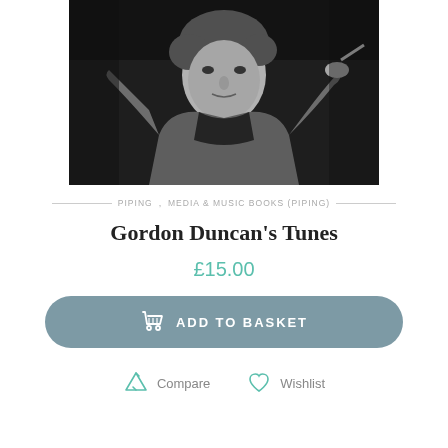[Figure (photo): Black and white portrait photograph of Gordon Duncan, a man with curly hair wearing a jacket, looking directly at the camera]
PIPING , MEDIA & MUSIC BOOKS (PIPING)
Gordon Duncan's Tunes
£15.00
ADD TO BASKET
Compare   Wishlist